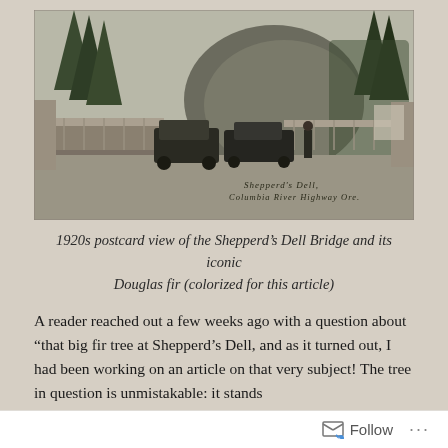[Figure (photo): Black and white 1920s postcard photo of Shepperd's Dell Bridge on the Columbia River Highway in Oregon. Early automobiles are parked on the bridge, trees and a large rock formation are visible in the background. Text on the photo reads 'Shepperd's Dell, Columbia River Highway Ore.']
1920s postcard view of the Shepperd's Dell Bridge and its iconic Douglas fir (colorized for this article)
A reader reached out a few weeks ago with a question about “that big fir tree at Shepperd’s Dell, and as it turned out, I had been working on an article on that very subject! The tree in question is unmistakable: it stands
Follow ...